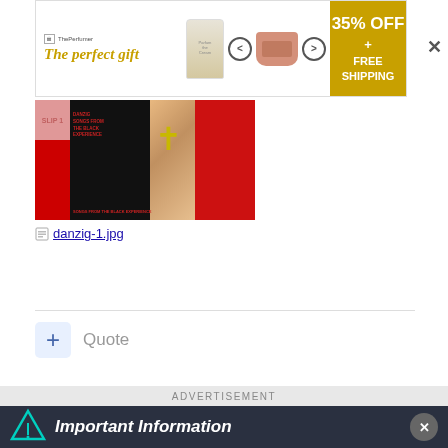[Figure (screenshot): Top advertisement banner for 'The perfect gift' with perfume bottle image, navigation arrows, bowl of nuts, and gold box showing 35% OFF + FREE SHIPPING]
[Figure (photo): Album cover image with red and black design featuring a cross/crucifix on a chain against red and black background]
danzig-1.jpg
Quote
ADVERTISEMENT
Important Information